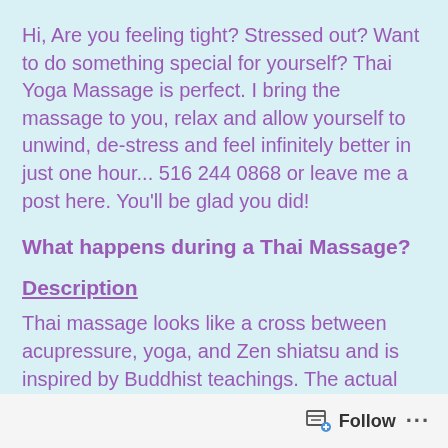Hi, Are you feeling tight? Stressed out? Want to do something special for yourself? Thai Yoga Massage is perfect. I bring the massage to you, relax and allow yourself to unwind, de-stress and feel infinitely better in just one hour... 516 244 0868 or leave me a post here. You'll be glad you did!
What happens during a Thai Massage?
Description
Thai massage looks like a cross between acupressure, yoga, and Zen shiatsu and is inspired by Buddhist teachings. The actual
Follow ...